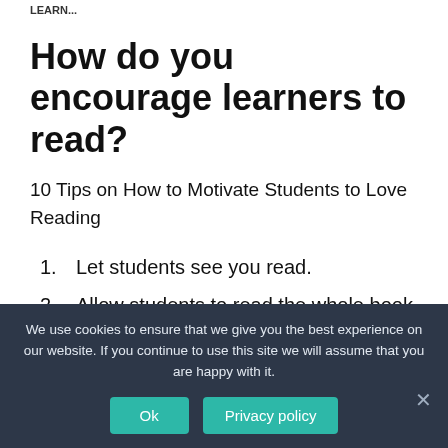LEARN...
How do you encourage learners to read?
10 Tips on How to Motivate Students to Love Reading
1. Let students see you read.
2. Allow students to read the whole book before
We use cookies to ensure that we give you the best experience on our website. If you continue to use this site we will assume that you are happy with it.